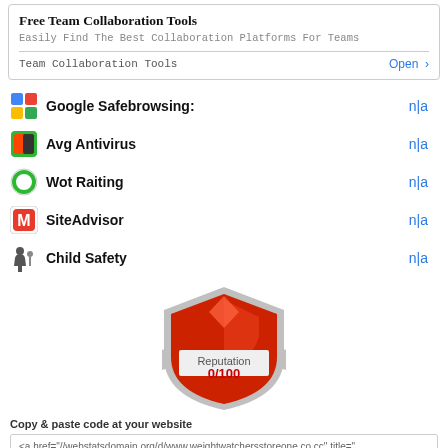[Figure (screenshot): Advertisement box for Free Team Collaboration Tools with Open button]
Google Safebrowsing: n|a
Avg Antivirus n|a
Wot Raiting n|a
SiteAdvisor n|a
Child Safety n|a
[Figure (infographic): Red shield badge showing Reputation 0/100]
Copy & paste code at your website
<a href="//webstatsdomain.org/d/www.weightwatchersstoreone.co.cc" title="
See more widgets